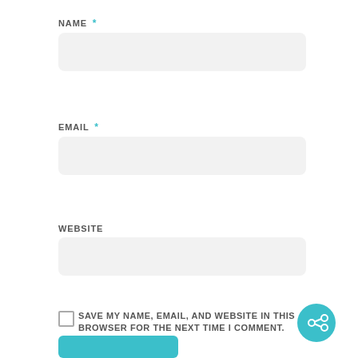NAME *
[Figure (other): Empty text input field for NAME]
EMAIL *
[Figure (other): Empty text input field for EMAIL]
WEBSITE
[Figure (other): Empty text input field for WEBSITE]
SAVE MY NAME, EMAIL, AND WEBSITE IN THIS BROWSER FOR THE NEXT TIME I COMMENT.
[Figure (other): Teal circular share button with share icon]
[Figure (other): Teal submit button at the bottom]